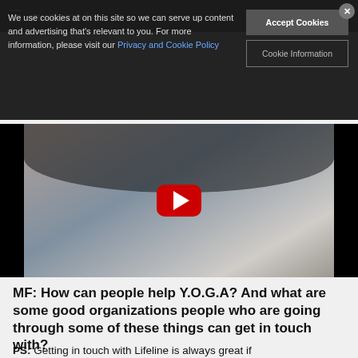musicfoods
We use cookies at on this site so we can serve up content and advertising that's relevant to you. For more information, please visit our Privacy and Cookie Policy
Accept Cookies
Cookie Information
[Figure (photo): YouTube video embed showing a person with hands pressed together in prayer/meditation pose, with a red YouTube play button overlay. Black bars on left and right sides.]
MF: How can people help Y.O.G.A? And what are some good organizations people who are going through some of these things can get in touch with?
PS: Getting in touch with Lifeline is always great if